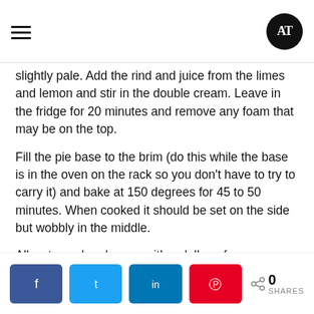AT logo and hamburger menu
slightly pale. Add the rind and juice from the limes and lemon and stir in the double cream. Leave in the fridge for 20 minutes and remove any foam that may be on the top.
Fill the pie base to the brim (do this while the base is in the oven on the rack so you don't have to try to carry it) and bake at 150 degrees for 45 to 50 minutes. When cooked it should be set on the side but wobbly in the middle.
Allow to cool and serve with a dollop of creme fraiche and a sprig of mint.
Smoked Pork Shank Baked Beans
Social share buttons: Facebook, Twitter, LinkedIn, Pinterest. 0 SHARES